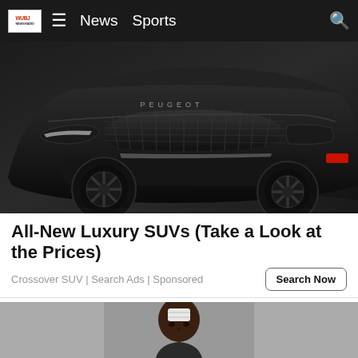WUBJ News Sports [search icon]
[Figure (photo): Dark matte black Peugeot concept SUV/crossover vehicle photographed from front-low angle, showing grille with PEUGEOT lettering, angular headlights, and red accent on side. Dark dramatic lighting on white background.]
All-New Luxury SUVs (Take a Look at the Prices)
Crossover SUV | Search Ads | Sponsored
[Figure (photo): Mugshot-style photo of a dark-skinned man with a white bandage/dressing on his forehead, against a neutral gray background.]